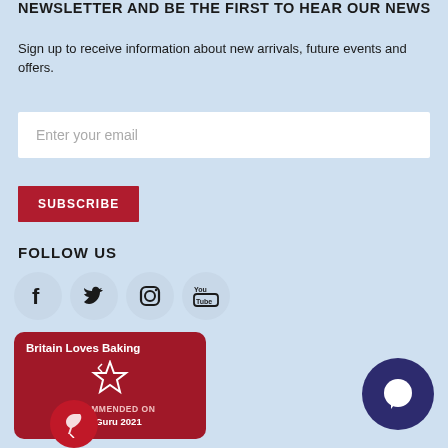NEWSLETTER AND BE THE FIRST TO HEAR OUR NEWS
Sign up to receive information about new arrivals, future events and offers.
[Figure (other): Email input field with placeholder text 'Enter your email']
[Figure (other): Red SUBSCRIBE button]
FOLLOW US
[Figure (other): Social media icons: Facebook, Twitter, Instagram, YouTube in circular grey backgrounds]
[Figure (other): Britain Loves Baking badge - red rounded rectangle with star icon and text 'RECOMMENDED ON Restaurant Guru 2021', with a quill pen circle overlay]
[Figure (other): Dark navy blue chat bubble circle icon in bottom right]